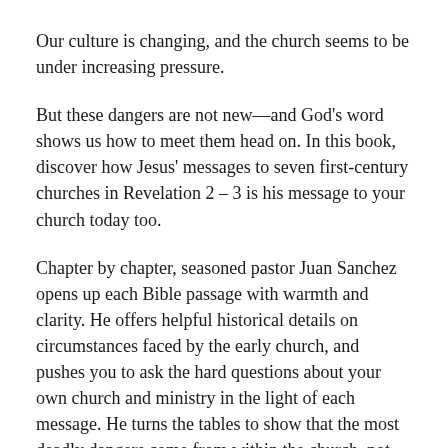Our culture is changing, and the church seems to be under increasing pressure.
But these dangers are not new—and God's word shows us how to meet them head on. In this book, discover how Jesus' messages to seven first-century churches in Revelation 2 – 3 is his message to your church today too.
Chapter by chapter, seasoned pastor Juan Sanchez opens up each Bible passage with warmth and clarity. He offers helpful historical details on circumstances faced by the early church, and pushes you to ask the hard questions about your own church and ministry in the light of each message. He turns the tables to show that the most deadly dangers come from within the church, not from outside of it.